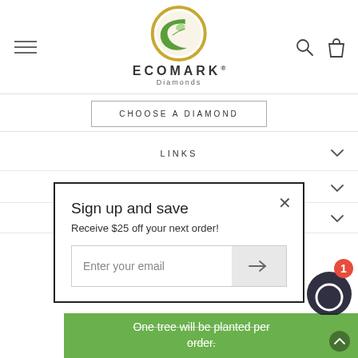[Figure (logo): Ecomark Diamonds logo with green leaf inside a golden circle, with text ECOMARK Diamonds below]
CHOOSE A DIAMOND
LINKS
Sign up and save
Receive $25 off your next order!
Enter your email
One tree will be planted per order.